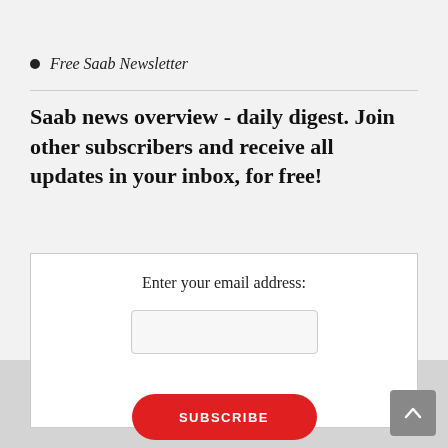Free Saab Newsletter
Saab news overview - daily digest. Join other subscribers and receive all updates in your inbox, for free!
[Figure (screenshot): Newsletter subscription form with email input field and red SUBSCRIBE button]